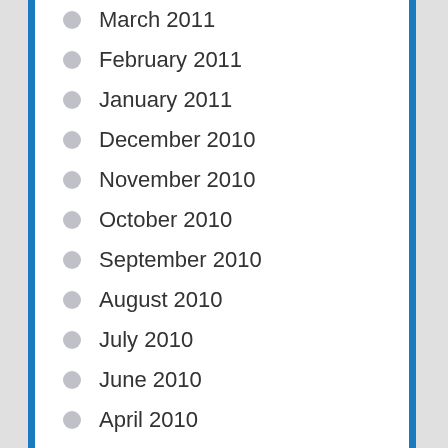March 2011
February 2011
January 2011
December 2010
November 2010
October 2010
September 2010
August 2010
July 2010
June 2010
April 2010
March 2010
February 2010
January 2010